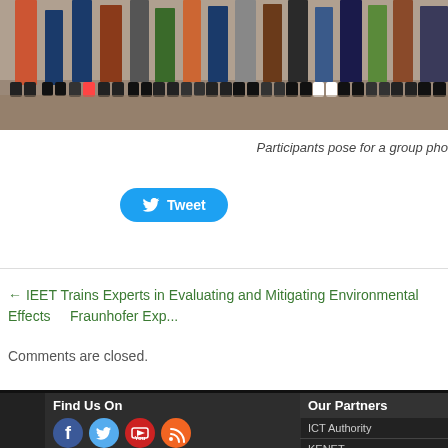[Figure (photo): Group photo of participants posing together, showing lower bodies and feet on a paved surface.]
Participants pose for a group pho...
[Figure (other): Twitter Tweet button]
← IEET Trains Experts in Evaluating and Mitigating Environmental Effects   Fraunhofer Exp...
Comments are closed.
Find Us On
[Figure (infographic): Social media icons: Facebook, Twitter, YouTube, RSS feed]
Our Partners
ICT Authority
KENET
JICA...